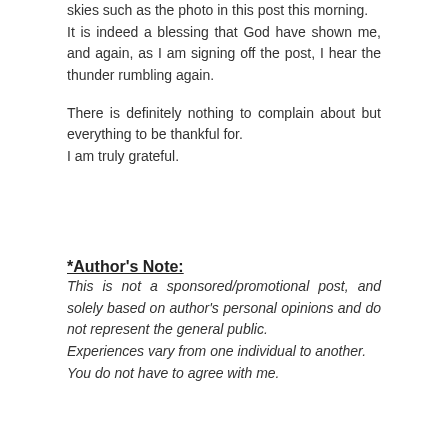skies such as the photo in this post this morning. It is indeed a blessing that God have shown me, and again, as I am signing off the post, I hear the thunder rumbling again.
There is definitely nothing to complain about but everything to be thankful for.
I am truly grateful.
*Author's Note:
This is not a sponsored/promotional post, and solely based on author's personal opinions and do not represent the general public.
Experiences vary from one individual to another.
You do not have to agree with me.